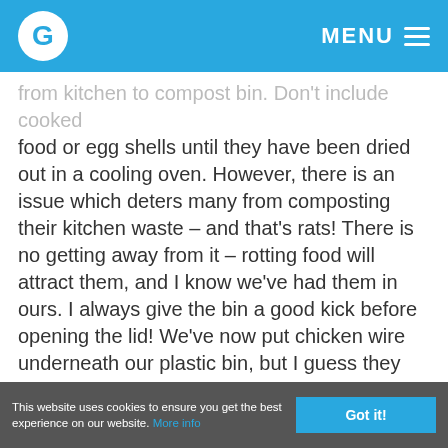MENU
from kitchen to compost bin. Don't include cooked food or egg shells until they have been dried out in a cooling oven. However, there is an issue which deters many from composting their kitchen waste – and that's rats!  There is no getting away from it – rotting food will attract them, and I know we've had them in ours.  I always give the bin a good kick before opening the lid! We've now put chicken wire underneath our plastic bin, but I guess they will chew through that eventually.  If you don't fancy composting at home, many local councils have started kirbside collections of kitchen waste or you could set up a community composting group.  There is help available from the Community Composting
This website uses cookies to ensure you get the best experience on our website. More info   Got it!